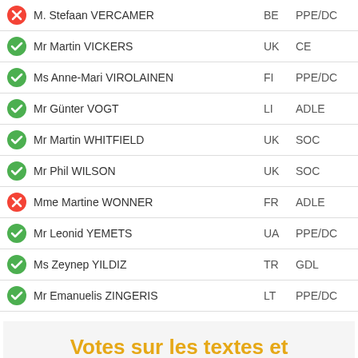|  | Name | Country | Group |
| --- | --- | --- | --- |
| ✗ | M. Stefaan VERCAMER | BE | PPE/DC |
| ✓ | Mr Martin VICKERS | UK | CE |
| ✓ | Ms Anne-Mari VIROLAINEN | FI | PPE/DC |
| ✓ | Mr Günter VOGT | LI | ADLE |
| ✓ | Mr Martin WHITFIELD | UK | SOC |
| ✓ | Mr Phil WILSON | UK | SOC |
| ✗ | Mme Martine WONNER | FR | ADLE |
| ✓ | Mr Leonid YEMETS | UA | PPE/DC |
| ✓ | Ms Zeynep YILDIZ | TR | GDL |
| ✓ | Mr Emanuelis ZINGERIS | LT | PPE/DC |
Votes sur les textes et amendements
Contestation, pour des raisons substantielles, des pouvoirs non encore ratifiés de la délégation parlementaire de la Fédération d